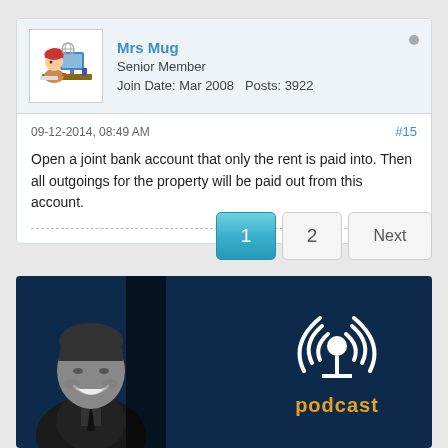Mrs Mug
Senior Member
Join Date: Mar 2008   Posts: 3922
09-12-2014, 08:49 AM
#15
Open a joint bank account that only the rent is paid into. Then all outgoings for the property will be paid out from this account.
[Figure (other): Pagination buttons showing page 1 (active/highlighted in blue), page 2, and Next button]
[Figure (other): Podcast banner with dark navy background, grayscale photo of smiling man on left, podcast microphone/WiFi icon in center-right, text 'podcast' in orange]